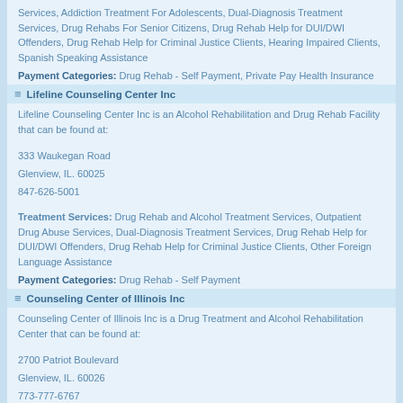Services, Addiction Treatment For Adolescents, Dual-Diagnosis Treatment Services, Drug Rehabs For Senior Citizens, Drug Rehab Help for DUI/DWI Offenders, Drug Rehab Help for Criminal Justice Clients, Hearing Impaired Clients, Spanish Speaking Assistance
Payment Categories: Drug Rehab - Self Payment, Private Pay Health Insurance
Lifeline Counseling Center Inc
Lifeline Counseling Center Inc is an Alcohol Rehabilitation and Drug Rehab Facility that can be found at:
333 Waukegan Road
Glenview, IL. 60025
847-626-5001
Treatment Services: Drug Rehab and Alcohol Treatment Services, Outpatient Drug Abuse Services, Dual-Diagnosis Treatment Services, Drug Rehab Help for DUI/DWI Offenders, Drug Rehab Help for Criminal Justice Clients, Other Foreign Language Assistance
Payment Categories: Drug Rehab - Self Payment
Counseling Center of Illinois Inc
Counseling Center of Illinois Inc is a Drug Treatment and Alcohol Rehabilitation Center that can be found at:
2700 Patriot Boulevard
Glenview, IL. 60026
773-777-6767
Treatment Services: Drug Rehab and Alcohol Treatment Services, Outpatient Drug Abuse